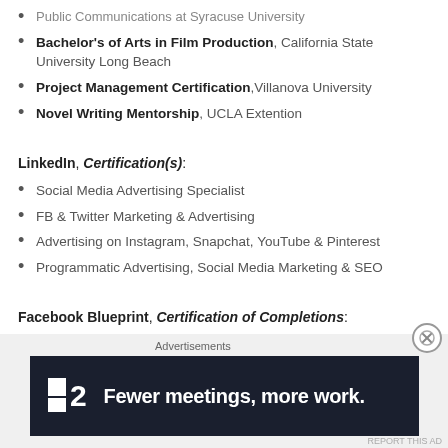Bachelor's of Arts in Film Production, California State University Long Beach
Project Management Certification, Villanova University
Novel Writing Mentorship, UCLA Extention
LinkedIn, Certification(s):
Social Media Advertising Specialist
FB & Twitter Marketing & Advertising
Advertising on Instagram, Snapchat, YouTube & Pinterest
Programmatic Advertising, Social Media Marketing & SEO
Facebook Blueprint, Certification of Completions:
[Figure (screenshot): Advertisement banner: '2 Fewer meetings, more work.' on dark background with close button overlay and Advertisements label]